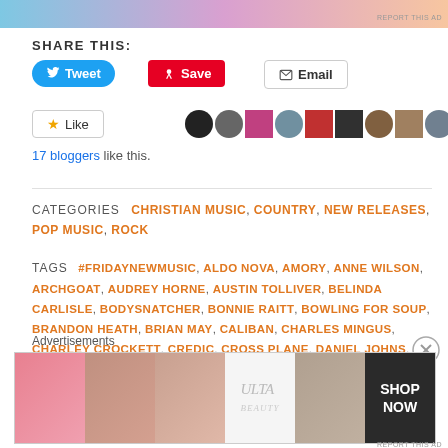[Figure (other): Advertisement banner at top with gradient pink/blue/peach colors]
REPORT THIS AD
SHARE THIS:
Tweet Save Email (share buttons)
Like — 17 bloggers like this.
CATEGORIES  CHRISTIAN MUSIC, COUNTRY, NEW RELEASES, POP MUSIC, ROCK
TAGS  #FRIDAYNEWMUSIC, ALDO NOVA, AMORY, ANNE WILSON, ARCHGOAT, AUDREY HORNE, AUSTIN TOLLIVER, BELINDA CARLISLE, BODYSNATCHER, BONNIE RAITT, BOWLING FOR SOUP, BRANDON HEATH, BRIAN MAY, CALIBAN, CHARLES MINGUS, CHARLEY CROCKETT, CREDIC, CROSS PLANE, DANIEL JOHNS, DONOVAN MELERO, DOROTHY, FAUN, GEORGIA HARMER
Advertisements
[Figure (photo): ULTA beauty advertisement banner showing makeup products and models]